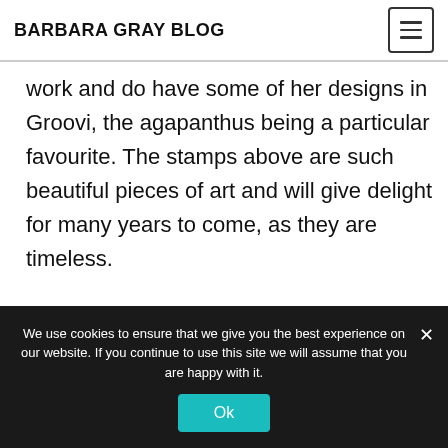BARBARA GRAY BLOG
work and do have some of her designs in Groovi, the agapanthus being a particular favourite. The stamps above are such beautiful pieces of art and will give delight for many years to come, as they are timeless. Thanks Paul. Annette X
We use cookies to ensure that we give you the best experience on our website. If you continue to use this site we will assume that you are happy with it.